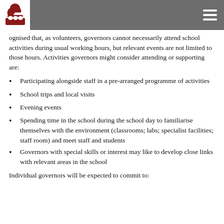ognised that, as volunteers, governors cannot necessarily attend school activities during usual working hours, but relevant events are not limited to those hours. Activities governors might consider attending or supporting are:
Participating alongside staff in a pre-arranged programme of activities
School trips and local visits
Evening events
Spending time in the school during the school day to familiarise themselves with the environment (classrooms; labs; specialist facilities; staff room) and meet staff and students
Governors with special skills or interest may like to develop close links with relevant areas in the school
Individual governors will be expected to commit to: